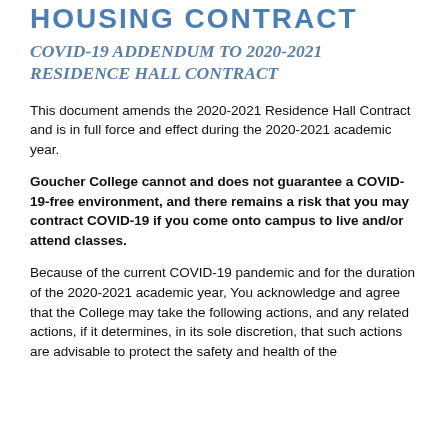HOUSING CONTRACT
COVID-19 ADDENDUM TO 2020-2021 RESIDENCE HALL CONTRACT
This document amends the 2020-2021 Residence Hall Contract and is in full force and effect during the 2020-2021 academic year.
Goucher College cannot and does not guarantee a COVID-19-free environment, and there remains a risk that you may contract COVID-19 if you come onto campus to live and/or attend classes.
Because of the current COVID-19 pandemic and for the duration of the 2020-2021 academic year, You acknowledge and agree that the College may take the following actions, and any related actions, if it determines, in its sole discretion, that such actions are advisable to protect the safety and health of the